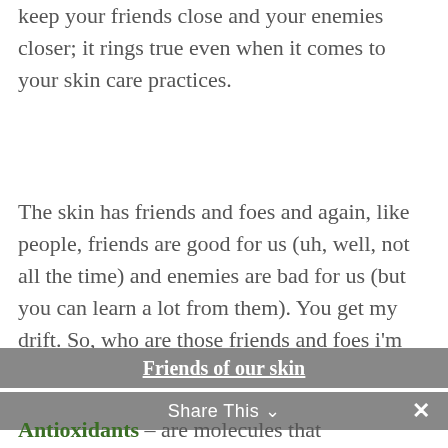keep your friends close and your enemies closer; it rings true even when it comes to your skin care practices.
The skin has friends and foes and again, like people, friends are good for us (uh, well, not all the time) and enemies are bad for us (but you can learn a lot from them). You get my drift. So, who are those friends and foes i'm referring to? Let's take a look.
Friends of our skin
Share This
Antioxidants – are molecules that